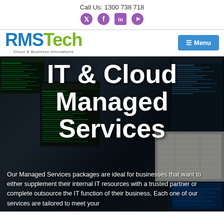Call Us: 1300 738 718
[Figure (logo): Social media icons: Twitter (bird), Facebook, LinkedIn, YouTube]
[Figure (logo): RMSTech Cloud & Business Innovations logo with blue RMS and green Tech text]
[Figure (screenshot): Background photo of IT operations center with multiple monitors showing data screens. Large white bold text overlay reads 'IT & Cloud Managed Services'. Below is descriptive text about managed services packages.]
IT & Cloud Managed Services
Our Managed Services packages are ideal for businesses that want to either supplement their internal IT resources with a trusted partner or complete outsource the IT function of their business. Each one of our services are tailored to meet your